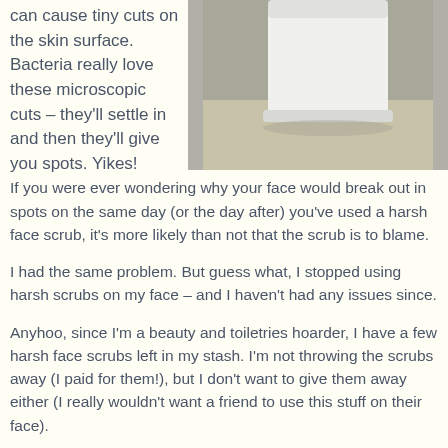can cause tiny cuts on the skin surface. Bacteria really love these microscopic cuts – they'll settle in and then they'll give you spots. Yikes!
[Figure (photo): A white cylindrical container or bottle photographed from above on a light background]
If you were ever wondering why your face would break out in spots on the same day (or the day after) you've used a harsh face scrub, it's more likely than not that the scrub is to blame.
I had the same problem. But guess what, I stopped using harsh scrubs on my face – and I haven't had any issues since.
Anyhoo, since I'm a beauty and toiletries hoarder, I have a few harsh face scrubs left in my stash. I'm not throwing the scrubs away (I paid for them!), but I don't want to give them away either (I really wouldn't want a friend to use this stuff on their face).
So I'm using these scrubs as body scrubs! This particular scrub is